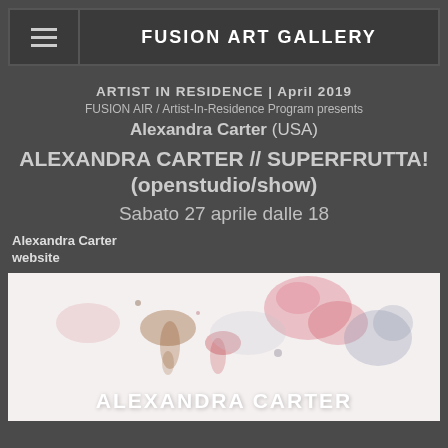FUSION ART GALLERY
ARTIST IN RESIDENCE | April 2019
FUSION AIR / Artist-In-Residence Program presents
Alexandra Carter (USA)
ALEXANDRA CARTER // SUPERFRUTTA!
(openstudio/show)
Sabato 27 aprile dalle 18
Alexandra Carter
website
[Figure (photo): Watercolor artwork by Alexandra Carter with abstract shapes in pink, red, and brown tones on white background. Text overlay reads 'ALEXANDRA CARTER'.]